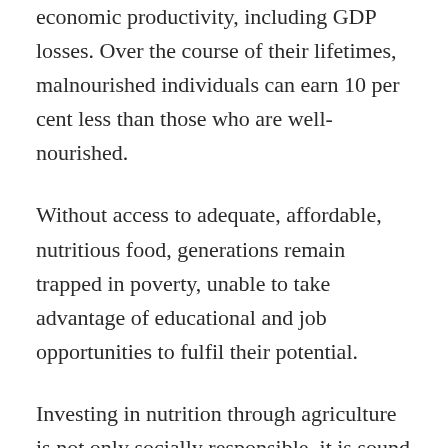economic productivity, including GDP losses. Over the course of their lifetimes, malnourished individuals can earn 10 per cent less than those who are well-nourished.
Without access to adequate, affordable, nutritious food, generations remain trapped in poverty, unable to take advantage of educational and job opportunities to fulfil their potential.
Investing in nutrition through agriculture is not only socially responsible, it is sound development policy and good economics. Its impact is multi-generational, allowing children to reach their full physical and intellectual potential, so that they can